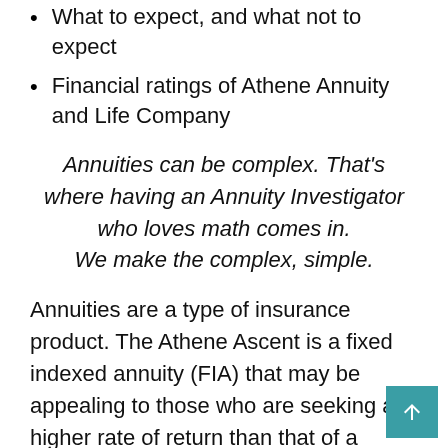What to expect, and what not to expect
Financial ratings of Athene Annuity and Life Company
Annuities can be complex. That's where having an Annuity Investigator who loves math comes in. We make the complex, simple.
Annuities are a type of insurance product. The Athene Ascent is a fixed indexed annuity (FIA) that may be appealing to those who are seeking a higher rate of return than that of a